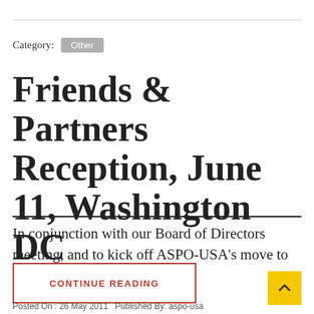Category: Other
Friends & Partners Reception, June 11, Washington DC
In conjunction with our Board of Directors meeting, and to kick off ASPO-USA's move to
CONTINUE READING
Posted On : 26 May 2011   Published By: aspo-usa